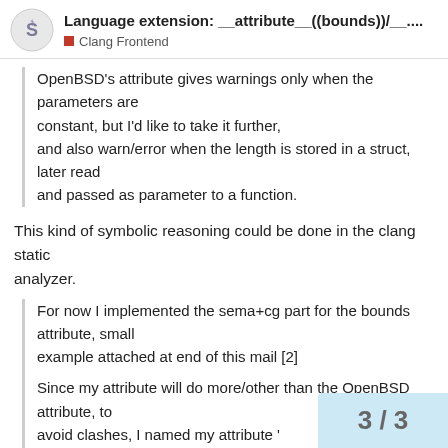Language extension: __attribute__((bounds))/__..
Clang Frontend
OpenBSD's attribute gives warnings only when the parameters are
constant, but I'd like to take it further,
and also warn/error when the length is stored in a struct, later read
and passed as parameter to a function.
This kind of symbolic reasoning could be done in the clang static
analyzer.
For now I implemented the sema+cg part for the bounds attribute, small
example attached at end of this mail [2]

Since my attribute will do more/other than the OpenBSD attribute, to
avoid clashes, I named my attribute '
(suggestions welcome), but